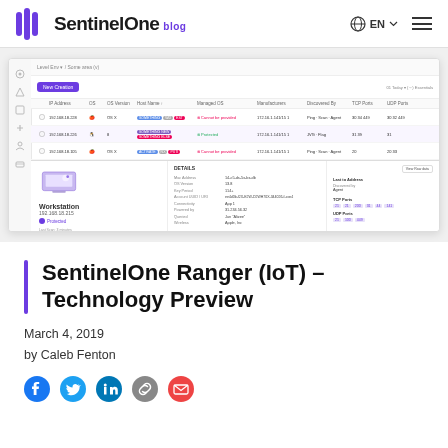SentinelOne blog | EN | menu
[Figure (screenshot): SentinelOne Ranger IoT dashboard screenshot showing a list of network devices with columns for Role, IP Address, OS, OS Version, Host Name, Managed OS, Manufacturers, Discovered By, TCP Ports, and UDP Ports. One row is expanded showing a Workstation detail panel with MAC Address, OS Version, Key Period, Account UUID, Connectivity, Powered By, Queried, and Wireless fields, along with TCP and UDP port information.]
SentinelOne Ranger (IoT) – Technology Preview
March 4, 2019
by Caleb Fenton